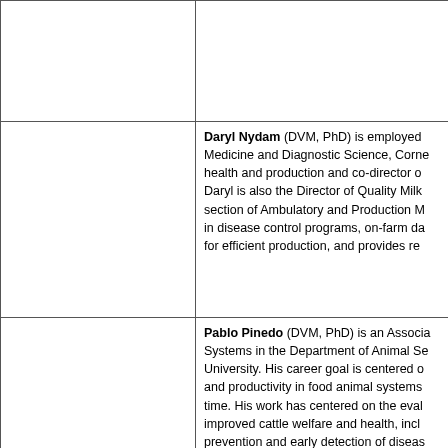|  |  |
|  | Daryl Nydam (DVM, PhD) is employed in Medicine and Diagnostic Science, Cornell... health and production and co-director o... Daryl is also the Director of Quality Milk... section of Ambulatory and Production M... in disease control programs, on-farm da... for efficient production, and provides re... |
|  | Pablo Pinedo (DVM, PhD) is an Associa... Systems in the Department of Animal Se... University. His career goal is centered o... and productivity in food animal systems... time. His work has centered on the eval... improved cattle welfare and health, incl... prevention and early detection of diseas... |
|  | Chris Dean (BA, BS) is a PhD student w... |